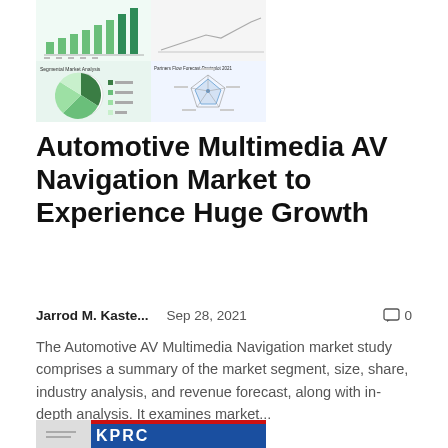[Figure (infographic): Market analysis composite image showing four quadrants: bar chart (top left), line chart (top right), pie chart labeled 'Segmental Market Analysis' (bottom left), and radar chart labeled 'Partners Flow Forecast Pentaplot 2021' (bottom right), with a light blue-green background]
Automotive Multimedia AV Navigation Market to Experience Huge Growth
Jarrod M. Kaste...   Sep 28, 2021   🗨 0
The Automotive AV Multimedia Navigation market study comprises a summary of the market segment, size, share, industry analysis, and revenue forecast, along with in-depth analysis. It examines market...
[Figure (photo): KPRC news channel logo/screenshot showing the KPRC text in red and white on a blue background]